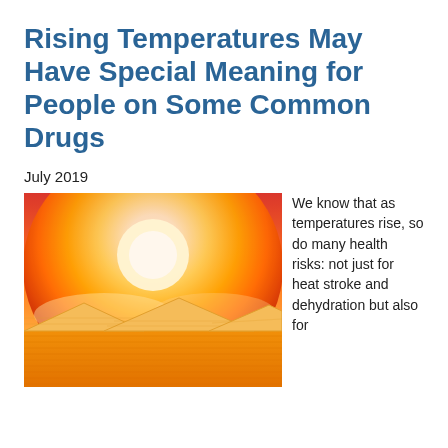Rising Temperatures May Have Special Meaning for People on Some Common Drugs
July 2019
[Figure (illustration): Illustration of a hot summer scene with a bright glowing sun in an orange-red sky above rooftops of houses, conveying extreme heat.]
We know that as temperatures rise, so do many health risks: not just for heat stroke and dehydration but also for